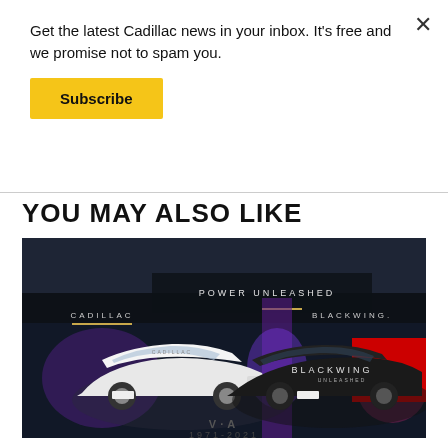Get the latest Cadillac news in your inbox. It's free and we promise not to spam you.
Subscribe
YOU MAY ALSO LIKE
[Figure (photo): Two Cadillac Blackwing vehicles (one white, one black) parked in front of a Cadillac Blackwing Power Unleashed branded display backdrop at night with purple lighting. Text on ground reads 'V-A 1971-2021'.]